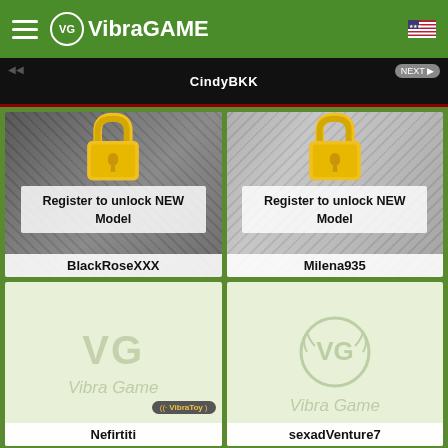[Figure (screenshot): VibraGAME website header with green background, hamburger menu, VG logo, and US flag icon]
[Figure (screenshot): Featured banner showing CindyBKK username]
[Figure (screenshot): Grid of 4 model cards: BlackRoseXXX and Milena935 with lock overlays and 'Register to unlock NEW Model' text; Nefirtiti and sexadVenture7 with VG watermark placeholder cards]
CindyBKK
Register to unlock NEW Model
BlackRoseXXX
Register to unlock NEW Model
Milena935
Nefirtiti
sexadVenture7